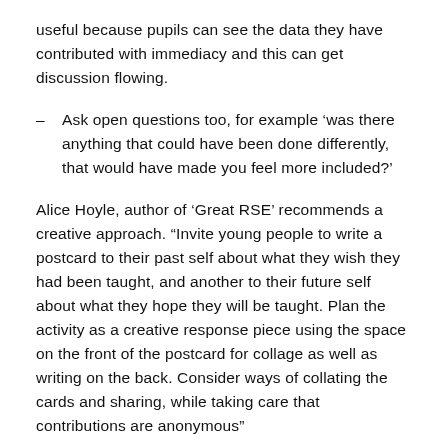useful because pupils can see the data they have contributed with immediacy and this can get discussion flowing.
Ask open questions too, for example ‘was there anything that could have been done differently, that would have made you feel more included?’
Alice Hoyle, author of ‘Great RSE’ recommends a creative approach. “Invite young people to write a postcard to their past self about what they wish they had been taught, and another to their future self about what they hope they will be taught. Plan the activity as a creative response piece using the space on the front of the postcard for collage as well as writing on the back. Consider ways of collating the cards and sharing, while taking care that contributions are anonymous”